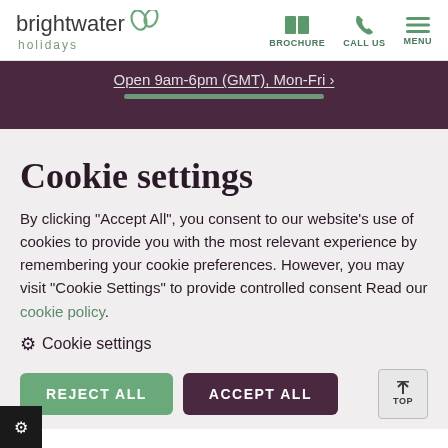brightwater holidays | BROCHURE | CALL US | MENU
Open 9am-6pm (GMT), Mon-Fri >
Cookie settings
By clicking "Accept All", you consent to our website's use of cookies to provide you with the most relevant experience by remembering your cookie preferences. However, you may visit "Cookie Settings" to provide controlled consent Read our cookie policy.
⚙ Cookie settings
REJECT ALL   ACCEPT ALL